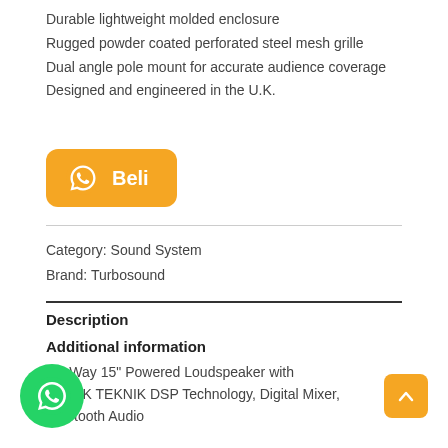Durable lightweight molded enclosure
Rugged powder coated perforated steel mesh grille
Dual angle pole mount for accurate audience coverage
Designed and engineered in the U.K.
[Figure (other): Yellow rounded button with WhatsApp icon and text 'Beli']
Category: Sound System
Brand: Turbosound
Description
Additional information
tt 2 Way 15" Powered Loudspeaker with KLARK TEKNIK DSP Technology, Digital Mixer, Bluetooth Audio